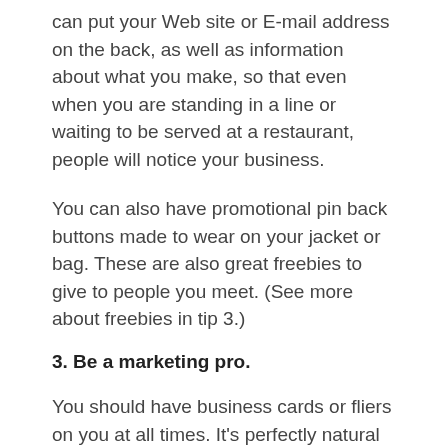can put your Web site or E-mail address on the back, as well as information about what you make, so that even when you are standing in a line or waiting to be served at a restaurant, people will notice your business.
You can also have promotional pin back buttons made to wear on your jacket or bag. These are also great freebies to give to people you meet. (See more about freebies in tip 3.)
3. Be a marketing pro.
You should have business cards or fliers on you at all times. It's perfectly natural for